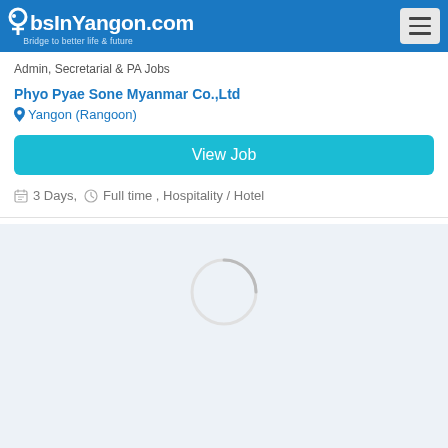JobsInYangon.com — Bridge to better life & future
Admin, Secretarial & PA Jobs
Phyo Pyae Sone Myanmar Co.,Ltd
Yangon (Rangoon)
View Job
3 Days, Full time , Hospitality / Hotel
[Figure (other): Loading spinner (circular arc animation placeholder) on a light blue-grey background]